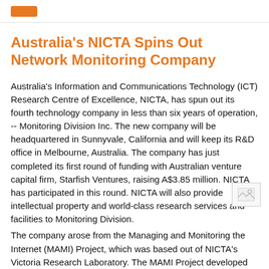[tag button: orange]
Australia's NICTA Spins Out Network Monitoring Company
Australia's Information and Communications Technology (ICT) Research Centre of Excellence, NICTA, has spun out its fourth technology company in less than six years of operation, -- Monitoring Division Inc. The new company will be headquartered in Sunnyvale, California and will keep its R&D office in Melbourne, Australia. The company has just completed its first round of funding with Australian venture capital firm, Starfish Ventures, raising A$3.85 million. NICTA has participated in this round. NICTA will also provide intellectual property and world-class research services and facilities to Monitoring Division.
[Figure (photo): Small broken image placeholder icon]
The company arose from the Managing and Monitoring the Internet (MAMI) Project, which was based out of NICTA's Victoria Research Laboratory. The MAMI Project developed